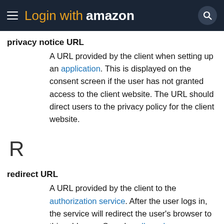Login with amazon
privacy notice URL
A URL provided by the client when setting up an application. This is displayed on the consent screen if the user has not granted access to the client website. The URL should direct users to the privacy policy for the client website.
R
redirect URL
A URL provided by the client to the authorization service. After the user logs in, the service will redirect the user's browser to this addresss. See also allowed